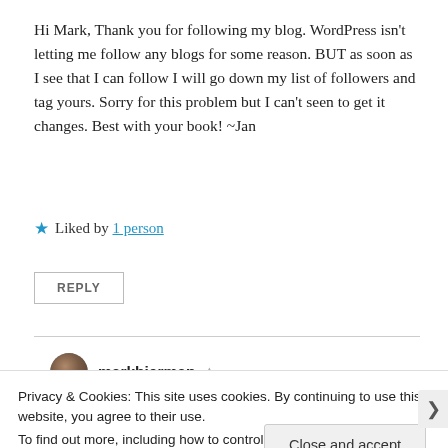Hi Mark, Thank you for following my blog. WordPress isn't letting me follow any blogs for some reason. BUT as soon as I see that I can follow I will go down my list of followers and tag yours. Sorry for this problem but I can't seen to get it changes. Best with your book! ~Jan
★ Liked by 1 person
REPLY
markbierman
Privacy & Cookies: This site uses cookies. By continuing to use this website, you agree to their use.
To find out more, including how to control cookies, see here: Cookie Policy
Close and accept